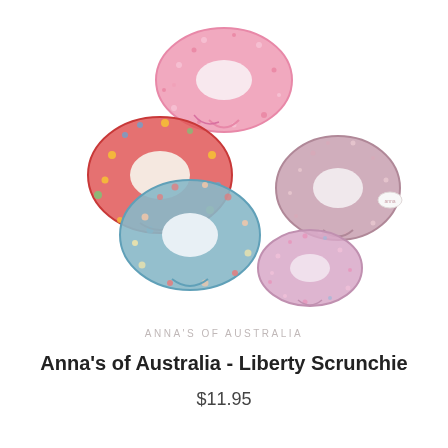[Figure (photo): Five fabric scrunchies with floral Liberty print patterns arranged on a white background. One pink floral scrunchie at top center, one red/multicolor floral scrunchie at left middle, one teal/blue floral scrunchie at bottom left of center, one dusty mauve/pink scrunchie with small floral print at right middle, and one small pink/purple floral scrunchie at bottom right of center.]
ANNA'S OF AUSTRALIA
Anna's of Australia - Liberty Scrunchie
$11.95